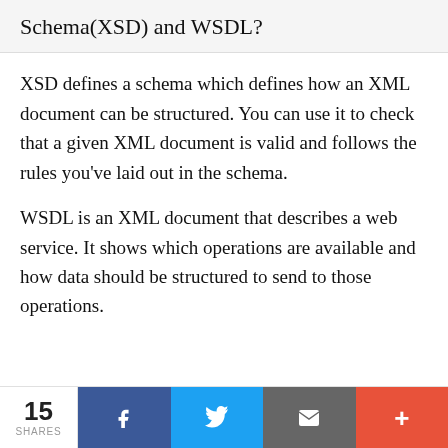Schema(XSD) and WSDL?
XSD defines a schema which defines how an XML document can be structured. You can use it to check that a given XML document is valid and follows the rules you've laid out in the schema.
WSDL is an XML document that describes a web service. It shows which operations are available and how data should be structured to send to those operations.
15 SHARES | Facebook | Twitter | Email | More